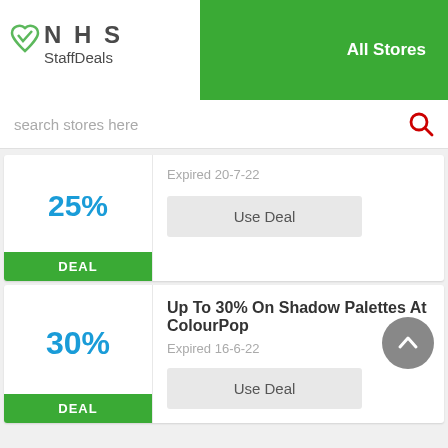[Figure (logo): NHS StaffDeals logo — green heart with checkmark and text NHS StaffDeals]
All Stores
search stores here
25%
DEAL
Expired 20-7-22
Use Deal
Up To 30% On Shadow Palettes At ColourPop
30%
DEAL
Expired 16-6-22
Use Deal